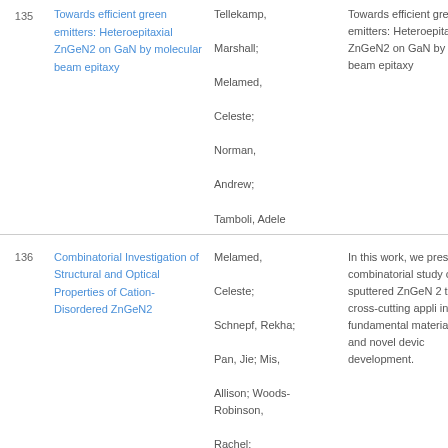| # | Title | Authors | Abstract |
| --- | --- | --- | --- |
| 135 | Towards efficient green emitters: Heteroepitaxial ZnGeN2 on GaN by molecular beam epitaxy | Tellekamp, Marshall; Melamed, Celeste; Norman, Andrew; Tamboli, Adele | Towards efficient green emitters: Heteroepitaxial ZnGeN2 on GaN by molecular beam epitaxy |
| 136 | Combinatorial Investigation of Structural and Optical Properties of Cation-Disordered ZnGeN2 | Melamed, Celeste; Schnepf, Rekha; Pan, Jie; Mis, Allison; Woods-Robinson, Rachel; Heinselman, Karen; Cordell, Jacob; Perkins, John; Lany, | In this work, we present combinatorial study of sputtered ZnGeN 2 thin with cross-cutting appli in fundamental materia science and novel devic development. |